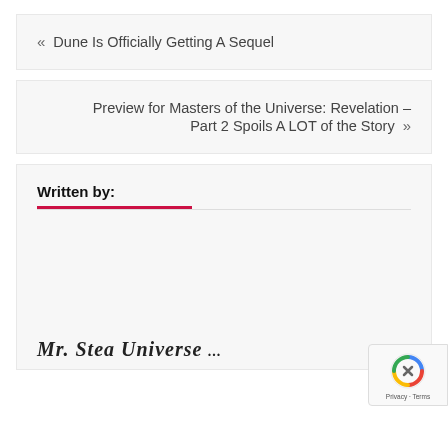« Dune Is Officially Getting A Sequel
Preview for Masters of the Universe: Revelation – Part 2 Spoils A LOT of the Story »
Written by:
Mr. Stea Universe ...